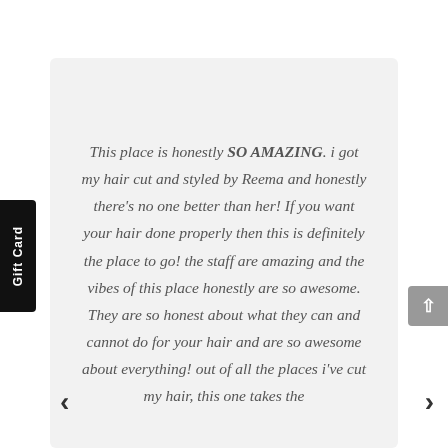Gift Card
This place is honestly SO AMAZING. i got my hair cut and styled by Reema and honestly there's no one better than her! If you want your hair done properly then this is definitely the place to go! the staff are amazing and the vibes of this place honestly are so awesome. They are so honest about what they can and cannot do for your hair and are so awesome about everything! out of all the places i've cut my hair, this one takes the